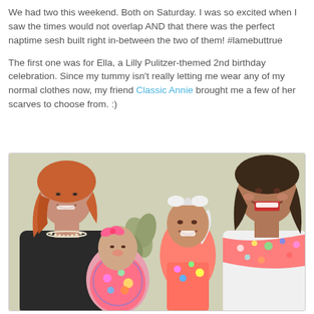We had two this weekend. Both on Saturday. I was so excited when I saw the times would not overlap AND that there was the perfect naptime sesh built right in-between the two of them! #lamebuttrue

The first one was for Ella, a Lilly Pulitzer-themed 2nd birthday celebration. Since my tummy isn't really letting me wear any of my normal clothes now, my friend Classic Annie brought me a few of her scarves to choose from. :)
[Figure (photo): A photo of two women and two young children (babies/toddlers). The woman on the left has long red/auburn hair and wears a black jacket with a pearl necklace. She holds a baby in a colorful Lilly Pulitzer-print outfit with a pink bow. In the center-back is a toddler girl with a large white bow headband, wearing a colorful Lilly Pulitzer dress and waving her hand. On the right is a brunette woman in a colorful Lilly Pulitzer scarf, laughing/smiling broadly. Background is a light green/beige wall with a plant.]